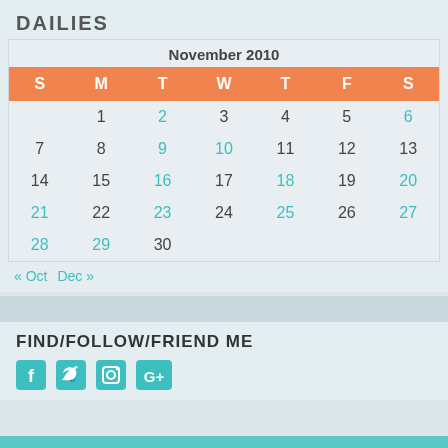DAILIES
| S | M | T | W | T | F | S |
| --- | --- | --- | --- | --- | --- | --- |
|  | 1 | 2 | 3 | 4 | 5 | 6 |
| 7 | 8 | 9 | 10 | 11 | 12 | 13 |
| 14 | 15 | 16 | 17 | 18 | 19 | 20 |
| 21 | 22 | 23 | 24 | 25 | 26 | 27 |
| 28 | 29 | 30 |  |  |  |  |
« Oct   Dec »
FIND/FOLLOW/FRIEND ME
[Figure (infographic): Social media icons: Facebook, Twitter, Instagram, Google+]